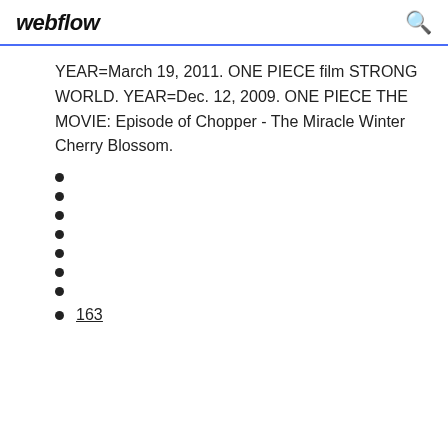webflow
YEAR=March 19, 2011. ONE PIECE film STRONG WORLD. YEAR=Dec. 12, 2009. ONE PIECE THE MOVIE: Episode of Chopper - The Miracle Winter Cherry Blossom.
163